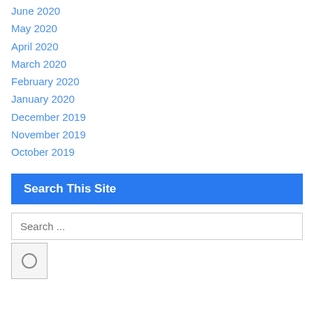June 2020
May 2020
April 2020
March 2020
February 2020
January 2020
December 2019
November 2019
October 2019
Search This Site
Search ...